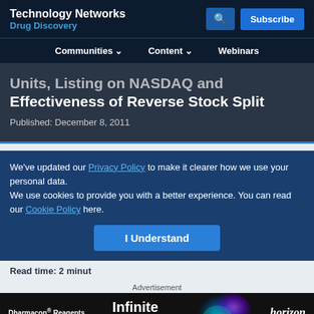Technology Networks Drug Discovery
Communities  Content  Webinars
Units, Listing on NASDAQ and Effectiveness of Reverse Stock Split
Published: December 8, 2011
We've updated our Privacy Policy to make it clearer how we use your personal data.
We use cookies to provide you with a better experience. You can read our Cookie Policy here.
I Understand
Read time: 2 minut
Advertisement
[Figure (photo): Dharmacon Reagents / Horizon - Infinite Reliability advertisement banner]